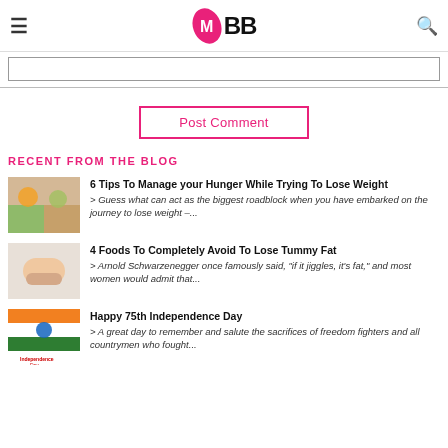IMBB
[Figure (screenshot): Search input bar]
Post Comment
RECENT FROM THE BLOG
[Figure (photo): Thumbnail for hunger management article]
6 Tips To Manage your Hunger While Trying To Lose Weight
> Guess what can act as the biggest roadblock when you have embarked on the journey to lose weight –...
[Figure (photo): Thumbnail for tummy fat article]
4 Foods To Completely Avoid To Lose Tummy Fat
> Arnold Schwarzenegger once famously said, "if it jiggles, it's fat," and most women would admit that...
[Figure (photo): Thumbnail for Independence Day article]
Happy 75th Independence Day
> A great day to remember and salute the sacrifices of freedom fighters and all countrymen who fought...